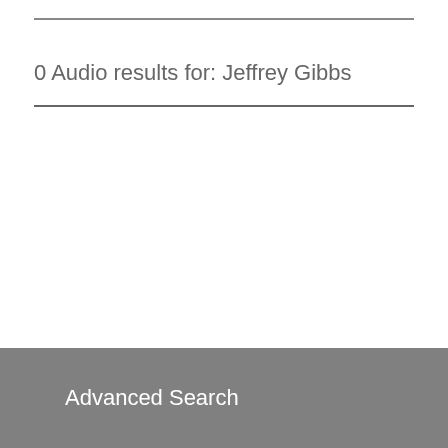0 Audio results for: Jeffrey Gibbs
Advanced Search